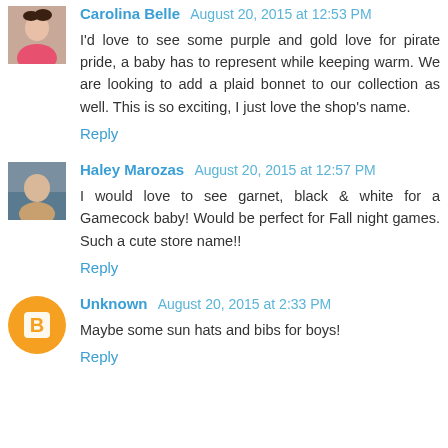Carolina Belle August 20, 2015 at 12:53 PM
I'd love to see some purple and gold love for pirate pride, a baby has to represent while keeping warm. We are looking to add a plaid bonnet to our collection as well. This is so exciting, I just love the shop's name.
Reply
Haley Marozas August 20, 2015 at 12:57 PM
I would love to see garnet, black & white for a Gamecock baby! Would be perfect for Fall night games. Such a cute store name!!
Reply
Unknown August 20, 2015 at 2:33 PM
Maybe some sun hats and bibs for boys!
Reply